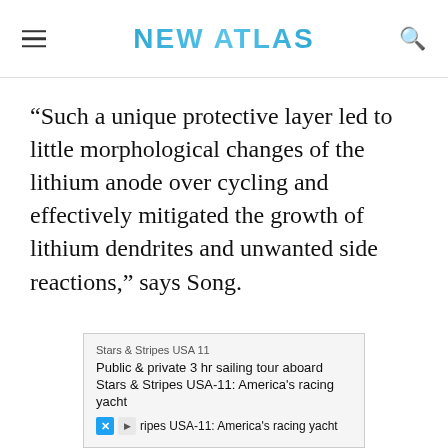NEW ATLAS
“Such a unique protective layer led to little morphological changes of the lithium anode over cycling and effectively mitigated the growth of lithium dendrites and unwanted side reactions,” says Song.
[Figure (other): Advertisement box for Stars & Stripes USA 11: Public & private 3 hr sailing tour aboard Stars & Stripes USA-11: America's racing yacht]